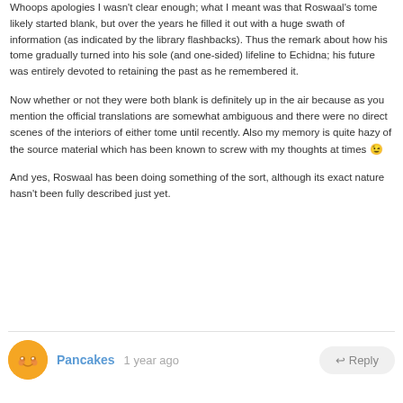Whoops apologies I wasn't clear enough; what I meant was that Roswaal's tome likely started blank, but over the years he filled it out with a huge swath of information (as indicated by the library flashbacks). Thus the remark about how his tome gradually turned into his sole (and one-sided) lifeline to Echidna; his future was entirely devoted to retaining the past as he remembered it.
Now whether or not they were both blank is definitely up in the air because as you mention the official translations are somewhat ambiguous and there were no direct scenes of the interiors of either tome until recently. Also my memory is quite hazy of the source material which has been known to screw with my thoughts at times 😉
And yes, Roswaal has been doing something of the sort, although its exact nature hasn't been fully described just yet.
Pancakes  1 year ago  ↩ Reply